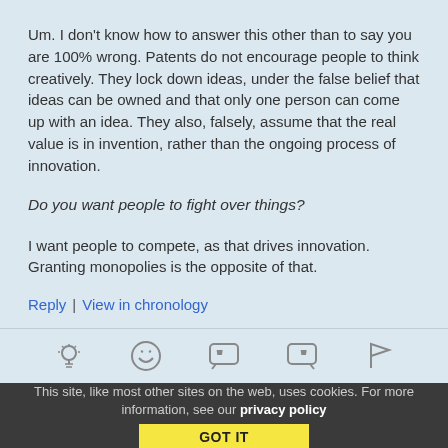Um. I don't know how to answer this other than to say you are 100% wrong. Patents do not encourage people to think creatively. They lock down ideas, under the false belief that ideas can be owned and that only one person can come up with an idea. They also, falsely, assume that the real value is in invention, rather than the ongoing process of innovation.
Do you want people to fight over things?
I want people to compete, as that drives innovation. Granting monopolies is the opposite of that.
Reply | View in chronology
[Figure (infographic): Row of five icons: lightbulb, laughing emoji, left quote bubble, right quote bubble, flag]
This site, like most other sites on the web, uses cookies. For more information, see our privacy policy
GOT IT